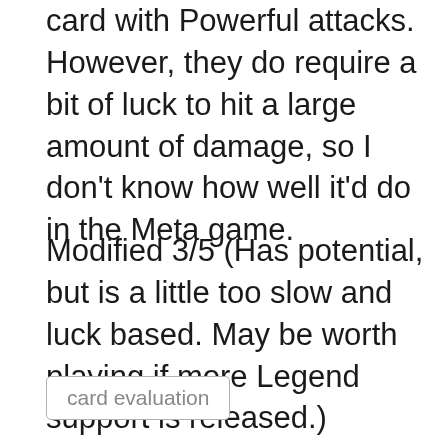card with Powerful attacks. However, they do require a bit of luck to hit a large amount of damage, so I don't know how well it'd do in the Meta game.
Modified 3/5 (Has potential, but is a little too slow and luck based. May be worth playing if more Legend support is released.)
card evaluation